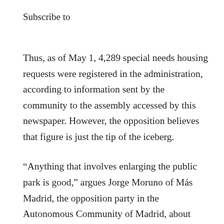Subscribe to
Thus, as of May 1, 4,289 special needs housing requests were registered in the administration, according to information sent by the community to the assembly accessed by this newspaper. However, the opposition believes that figure is just the tip of the iceberg.
“Anything that involves enlarging the public park is good,” argues Jorge Moruno of Más Madrid, the opposition party in the Autonomous Community of Madrid, about